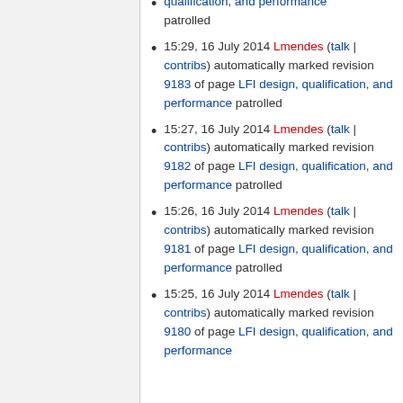qualification, and performance patrolled (continuation of previous item)
15:29, 16 July 2014 Lmendes (talk | contribs) automatically marked revision 9183 of page LFI design, qualification, and performance patrolled
15:27, 16 July 2014 Lmendes (talk | contribs) automatically marked revision 9182 of page LFI design, qualification, and performance patrolled
15:26, 16 July 2014 Lmendes (talk | contribs) automatically marked revision 9181 of page LFI design, qualification, and performance patrolled
15:25, 16 July 2014 Lmendes (talk | contribs) automatically marked revision 9180 of page LFI design, qualification, and performance